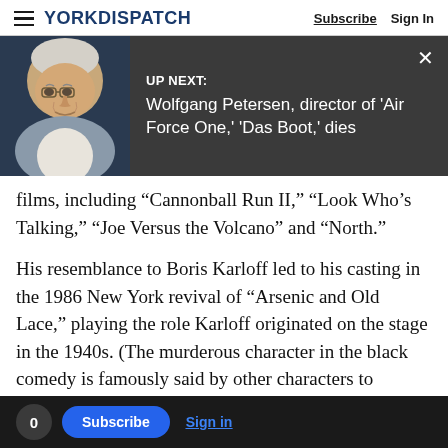YORK DISPATCH | Subscribe | Sign In
[Figure (screenshot): Up Next panel: photo of elderly man with white/grey hair and glasses on dark background, with overlay text 'UP NEXT: Wolfgang Petersen, director of Air Force One, Das Boot, dies' and close button X]
films, including 'Cannonball Run II,' 'Look Who's Talking,' 'Joe Versus the Volcano' and 'North.'
His resemblance to Boris Karloff led to his casting in the 1986 New York revival of "Arsenic and Old Lace," playing the role Karloff originated on the stage in the 1940s. (The murderous character in the black comedy is famously said by other characters to resemble Boris Karloff, a great joke back when the real Karloff was playing him.)
0  Subscribe  Sign in